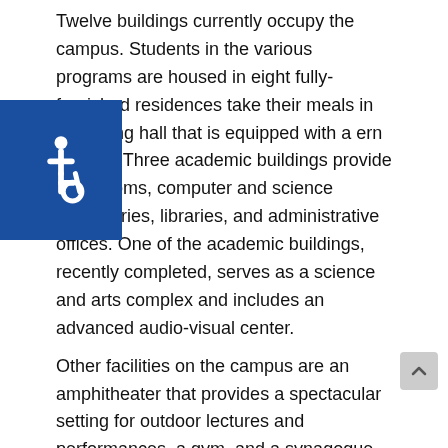Twelve buildings currently occupy the campus. Students in the various programs are housed in eight fully-furnished residences take their meals in the dining hall that is equipped with a ern kitchen. Three academic buildings provide classrooms, computer and science laboratories, libraries, and administrative offices. One of the academic buildings, recently completed, serves as a science and arts complex and includes an advanced audio-visual center.
Other facilities on the campus are an amphitheater that provides a spectacular setting for outdoor lectures and performances, a gym, and a synagogue that serves both the students and community residents.
Accommodations
The dorm contains three apartments occupied by the students. Each student apartment has four dormitory rooms, a kitchen, washroom facilities including showers, and a laundry room for
[Figure (illustration): Accessibility icon: white wheelchair symbol on blue square background, positioned at left side of page overlapping text]